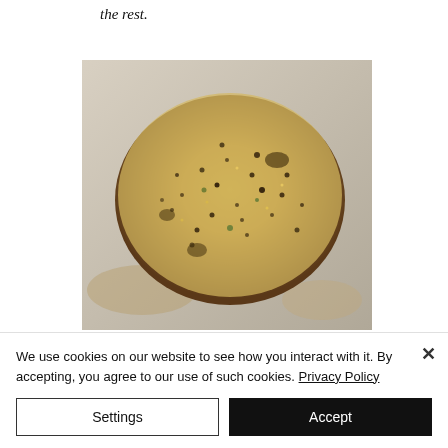the rest.
[Figure (photo): A piece of meat heavily coated with spices/rub (appears to be breadcrumbs, sesame seeds, and black pepper) in a metal baking pan, viewed from above.]
We use cookies on our website to see how you interact with it. By accepting, you agree to our use of such cookies. Privacy Policy
Settings
Accept